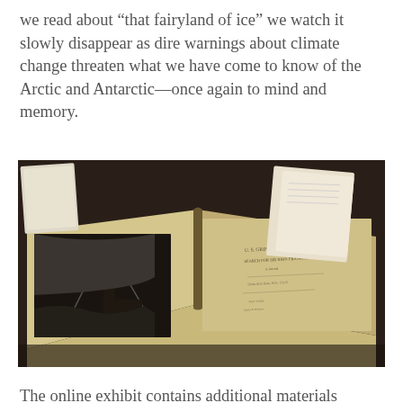we read about “that fairyland of ice” we watch it slowly disappear as dire warnings about climate change threaten what we have come to know of the Arctic and Antarctic—once again to mind and memory.
[Figure (photo): An open antique book displayed on a dark table. The left page shows a dramatic engraving of a sailing ship in icy waters. The right page shows a title page with text reading U.S. Grinnell Expedition Search for Sir John Franklin. Other papers and documents are visible in the background.]
The online exhibit contains additional materials beyond what is on display in the Library. “We are